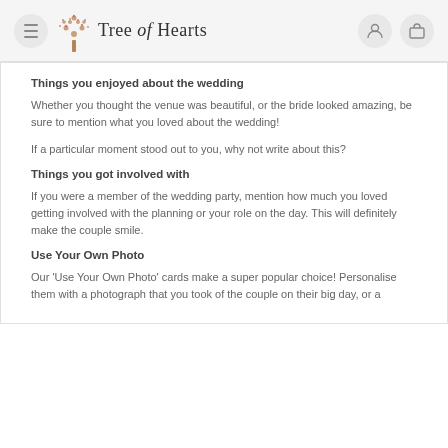Tree of Hearts
Things you enjoyed about the wedding
Whether you thought the venue was beautiful, or the bride looked amazing, be sure to mention what you loved about the wedding!
If a particular moment stood out to you, why not write about this?
Things you got involved with
If you were a member of the wedding party, mention how much you loved getting involved with the planning or your role on the day. This will definitely make the couple smile.
Use Your Own Photo
Our 'Use Your Own Photo' cards make a super popular choice! Personalise them with a photograph that you took of the couple on their big day, or a